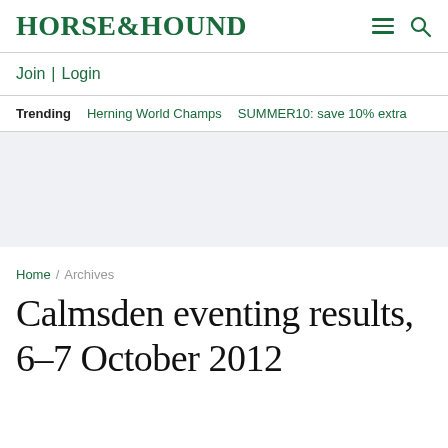HORSE&HOUND
Join | Login
Trending   Herning World Champs   SUMMER10: save 10% extra
[Figure (other): Advertisement / placeholder grey area]
Home / Archives
Calmsden eventing results, 6–7 October 2012